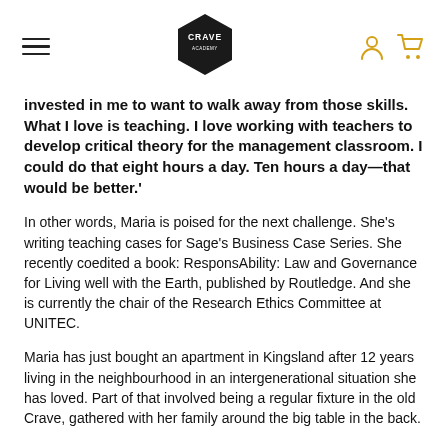CRAVE [logo] [menu] [user] [cart]
invested in me to want to walk away from those skills. What I love is teaching. I love working with teachers to develop critical theory for the management classroom. I could do that eight hours a day. Ten hours a day—that would be better.'
In other words, Maria is poised for the next challenge. She's writing teaching cases for Sage's Business Case Series. She recently coedited a book: ResponsAbility: Law and Governance for Living well with the Earth, published by Routledge. And she is currently the chair of the Research Ethics Committee at UNITEC.
Maria has just bought an apartment in Kingsland after 12 years living in the neighbourhood in an intergenerational situation she has loved. Part of that involved being a regular fixture in the old Crave, gathered with her family around the big table in the back.